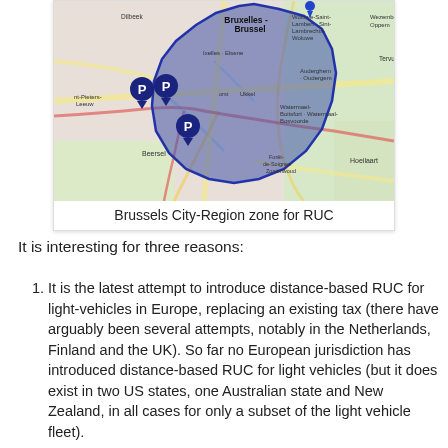[Figure (map): Map showing Brussels City-Region zone for Road User Charging (RUC), with a shaded blue polygon covering the Brussels region. Three blue 'P' parking markers are visible on the western side of the zone. Background is a street/terrain map showing surrounding municipalities including Bruxelles-Brussel, Woluwe, Beersel, Hoeilaart and others.]
Brussels City-Region zone for RUC
It is interesting for three reasons:
It is the latest attempt to introduce distance-based RUC for light-vehicles in Europe, replacing an existing tax (there have arguably been several attempts, notably in the Netherlands, Finland and the UK). So far no European jurisdiction has introduced distance-based RUC for light vehicles (but it does exist in two US states, one Australian state and New Zealand, in all cases for only a subset of the light vehicle fleet).
It seeks to combine RUC with a form of congestion charging, by varying distance by time of day and